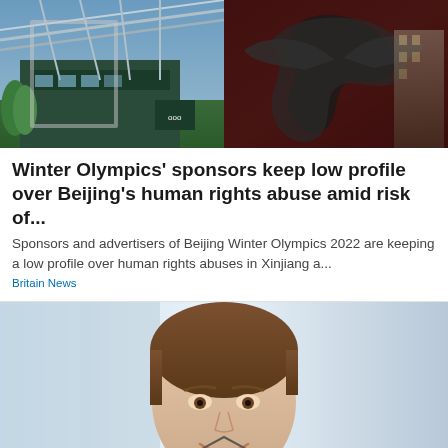[Figure (photo): Two-panel header image: left shows a stadium/arena exterior with blue sky and Olympic logo; right shows a dark metallic eagle or bird sculpture]
Winter Olympics' sponsors keep low profile over Beijing's human rights abuse amid risk of...
Sponsors and advertisers of Beijing Winter Olympics 2022 are keeping a low profile over human rights abuses in Xinjiang a...
Britain News
[Figure (photo): Portrait photo of a smiling young man with brown hair wearing a dark jacket, photographed against a blurred light background]